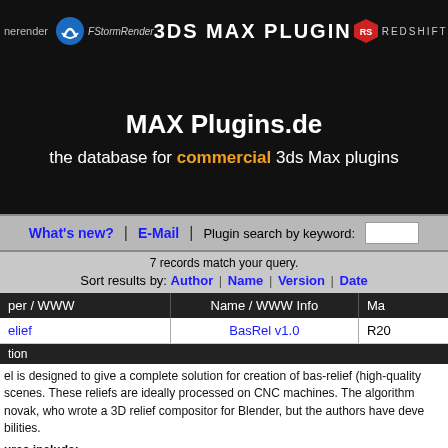3DS MAX PLUGIN — MAXPlugins.de header with FStormRender and Redshift logos
MAX Plugins.de
the database for commercial 3ds Max plugins
What's new? | E-Mail | Plugin search by keyword:
7 records match your query.
Sort results by: Author | Name | Version | Date
| per / WWW | Name / WWW Info | Ma |
| --- | --- | --- |
| elief | BasRel v1.0 | R20 |
tion
el is designed to give a complete solution for creation of bas-relief (high-quality scenes. These reliefs are ideally processed on CNC machines. The algorithm novak, who wrote a 3D relief compositor for Blender, but the authors have deve bilities.
ures include:
ck render-time generation of bas-relief with optimized RAM management
pports all renderers that can generate Z-Depth data